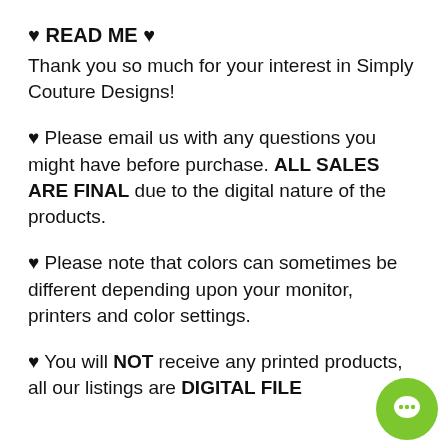♥ READ ME ♥
Thank you so much for your interest in Simply Couture Designs!
♥ Please email us with any questions you might have before purchase. ALL SALES ARE FINAL due to the digital nature of the products.
♥ Please note that colors can sometimes be different depending upon your monitor, printers and color settings.
♥ You will NOT receive any printed products, all our listings are DIGITAL FILES Only...